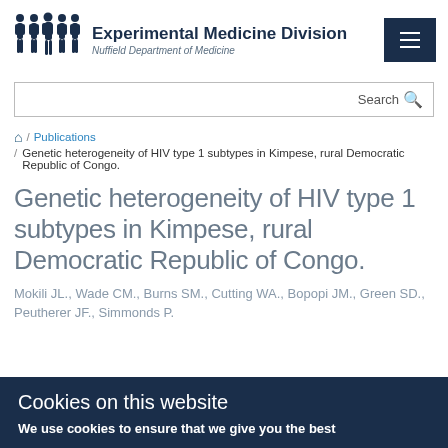[Figure (logo): Experimental Medicine Division logo with human figures silhouettes and text 'Experimental Medicine Division, Nuffield Department of Medicine']
Search
🏠 / Publications / Genetic heterogeneity of HIV type 1 subtypes in Kimpese, rural Democratic Republic of Congo.
Genetic heterogeneity of HIV type 1 subtypes in Kimpese, rural Democratic Republic of Congo.
Mokili JL., Wade CM., Burns SM., Cutting WA., Bopopi JM., Green SD., Peutherer JF., Simmonds P.
Cookies on this website
We use cookies to ensure that we give you the best